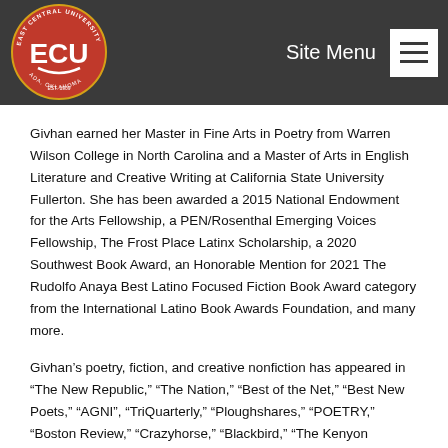Site Menu
Givhan earned her Master in Fine Arts in Poetry from Warren Wilson College in North Carolina and a Master of Arts in English Literature and Creative Writing at California State University Fullerton. She has been awarded a 2015 National Endowment for the Arts Fellowship, a PEN/Rosenthal Emerging Voices Fellowship, The Frost Place Latinx Scholarship, a 2020 Southwest Book Award, an Honorable Mention for 2021 The Rudolfo Anaya Best Latino Focused Fiction Book Award category from the International Latino Book Awards Foundation, and many more.
Givhan’s poetry, fiction, and creative nonfiction has appeared in “The New Republic,” “The Nation,” “Best of the Net,” “Best New Poets,” “AGNI”, “TriQuarterly,” “Ploughshares,” “POETRY,” “Boston Review,” “Crazyhorse,” “Blackbird,” “The Kenyon Review,” “New